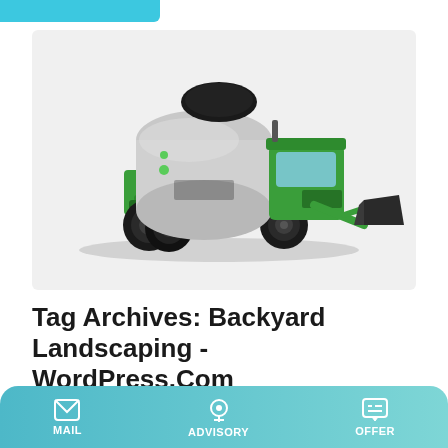[Figure (photo): Green and white self-loading concrete mixer truck with black drum and front bucket loader attachment, on white/light grey background]
Tag Archives: Backyard Landscaping - WordPress.Com
We fit all budgets with Chris Jensen Landscaping style-
MAIL   ADVISORY   OFFER